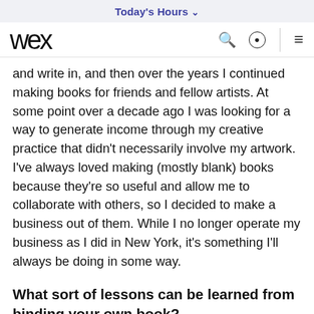Today's Hours ▾
[Figure (logo): Wex logo and navigation bar with search, location, and hamburger menu icons]
and write in, and then over the years I continued making books for friends and fellow artists. At some point over a decade ago I was looking for a way to generate income through my creative practice that didn't necessarily involve my artwork. I've always loved making (mostly blank) books because they're so useful and allow me to collaborate with others, so I decided to make a business out of them. While I no longer operate my business as I did in New York, it's something I'll always be doing in some way.
What sort of lessons can be learned from binding your own book?
Many things! Top of mind is the way in which binding